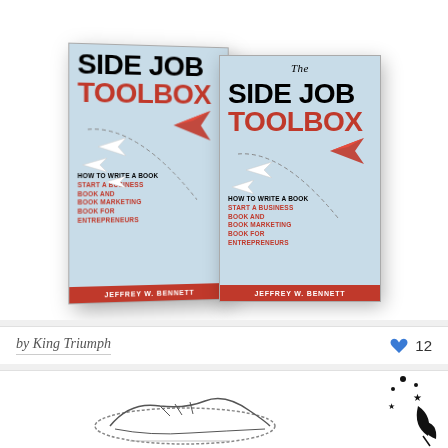[Figure (photo): Two book covers of 'The Side Job Toolbox: How to Write a Book, Start a Business Book and Book Marketing Book for Entrepreneurs' by Jeffrey W. Bennett. Left book shown in 3D perspective, right book shown flat/front-facing. Light blue covers with black and red text, red bottom strip with author name in white, paper airplane illustrations on the covers.]
by King Triumph
12
[Figure (illustration): Partial view of another book or illustration at the bottom of the page, showing sketch-style drawing and black decorative elements with stars on the right side.]